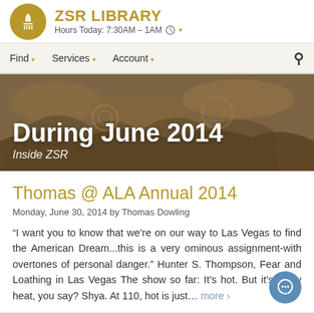ZSR LIBRARY — Hours Today: 7:30AM – 1AM
Find ▾  Services ▾  Account ▾
[Figure (photo): Sepia-toned photo of classical architectural column capitals used as hero banner background]
During June 2014
Inside ZSR
Thomas @ ALA Annual 2014
Monday, June 30, 2014 by Thomas Dowling
“I want you to know that we’re on our way to Las Vegas to find the American Dream...this is a very ominous assignment-with overtones of personal danger.” Hunter S. Thompson, Fear and Loathing in Las Vegas The show so far: It’s hot. But it’s a dry heat, you say? Shya. At 110, hot is just… more ›